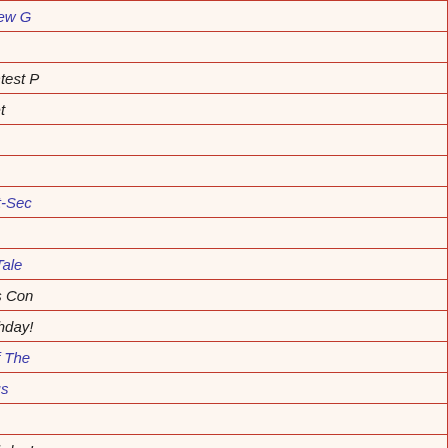| Date | Points | Description |
| --- | --- | --- |
| 12/19/2016 | 1 | Rate Game Star Wars, a new G… |
| 12/18/2016 | 1 | Daily Point |
| 12/18/2016 | 15 | Admin. Bonus - Bonus Contest P… |
| 12/18/2016 | 75 | Admin. Bonus - Fulfilled Bet |
| 12/16/2016 | 1 | Daily Point |
| 12/16/2016 | 1 | Rate Game Love SICK |
| 12/16/2016 | 1 | Rate Game Gender in Post-Sec… |
| 12/16/2016 | 1 | Rate Game |
| 12/15/2016 | 10 | Publish Game The Bard's Tale |
| 12/2/2016 | -75 | Admin. Penalty - Christmas Con… |
| 9/20/2016 | 15 | Admin. Bonus - Happy Birthday!… |
| 9/18/2016 | 1 | Rate Game The Mystery of The… |
| 9/8/2016 | 1 | Rate Game Homo Perfectus |
| 3/31/2016 | 1 | Rate Game Zombieland |
| 9/20/2015 | 15 | Admin. Bonus - Happy Birthday!… |
| 7/17/2015 | 1 | Rate Game The Search For The… |
| 7/17/2015 | -5 | Duel Escrow Rock Paper Scisso… |
| 7/17/2015 | 10 | Win Duel RPS |
| 7/17/2015 | -5 | Duel Escrow RPS… |